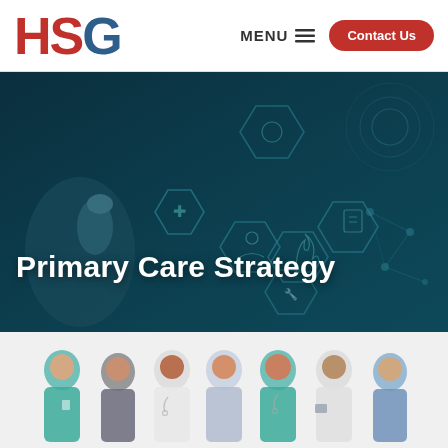HSG  MENU  Contact Us
Primary Care Strategy
[Figure (photo): Hero banner with dark teal overlay showing hand touching digital medical hexagon icons; text reads Primary Care Strategy]
[Figure (photo): Group of diverse medical professionals including doctors and nurses in scrubs and white coats]